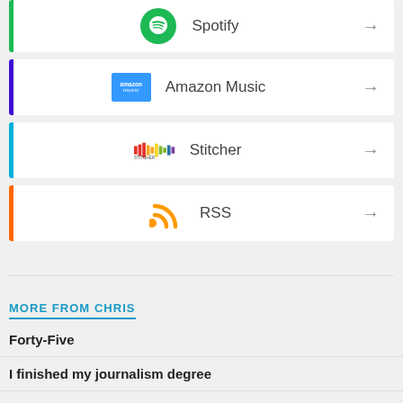Spotify
Amazon Music
Stitcher
RSS
MORE FROM CHRIS
Forty-Five
I finished my journalism degree
Social Contract